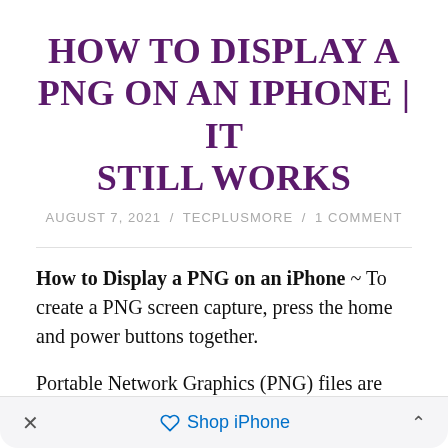HOW TO DISPLAY A PNG ON AN IPHONE | IT STILL WORKS
AUGUST 7, 2021 / TECPLUSMORE / 1 COMMENT
How to Display a PNG on an iPhone ~ To create a PNG screen capture, press the home and power buttons together.
Portable Network Graphics (PNG) files are image files that use lossless data compression and are the preferred photo format for Apple's iPhone.
× Shop iPhone ^